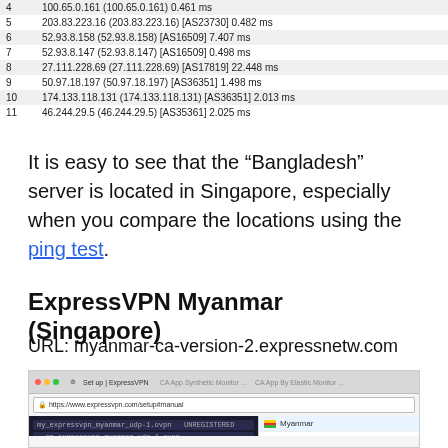| 4 | 100.65.0.161 (100.65.0.161) 0.461 ms |
| 5 | 203.83.223.16 (203.83.223.16) [AS23730] 0.482 ms |
| 6 | 52.93.8.158 (52.93.8.158) [AS16509] 7.407 ms |
| 7 | 52.93.8.147 (52.93.8.147) [AS16509] 0.498 ms |
| 8 | 27.111.228.69 (27.111.228.69) [AS17819] 22.448 ms |
| 9 | 50.97.18.197 (50.97.18.197) [AS36351] 1.498 ms |
| 10 | 174.133.118.131 (174.133.118.131) [AS36351] 2.013 ms |
| 11 | 46.244.29.5 (46.244.29.5) [AS35361] 2.025 ms |
It is easy to see that the “Bangladesh” server is located in Singapore, especially when you compare the locations using the ping test.
ExpressVPN Myanmar (Singapore)
URL: myanmar-ca-version-2.expressnetw.com
[Figure (screenshot): Screenshot of a browser window showing ExpressVPN configuration page with a terminal panel on the left displaying OpenVPN config lines including 'dev tun', 'fast-io', 'persist-key', 'persist-tun', 'nobind', 'remote myanmar-ca-version-2.expressnetw.com 1195', and a right sidebar showing server locations: Myanmar, Nepal, Bhutan, Indonesia]